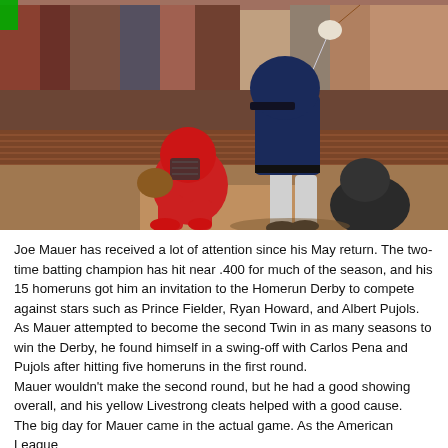[Figure (photo): Baseball player in dark uniform swinging a bat at home plate, with a catcher in red uniform crouching behind, crowd visible in background at a baseball stadium.]
Joe Mauer has received a lot of attention since his May return. The two-time batting champion has hit near .400 for much of the season, and his 15 homeruns got him an invitation to the Homerun Derby to compete against stars such as Prince Fielder, Ryan Howard, and Albert Pujols. As Mauer attempted to become the second Twin in as many seasons to win the Derby, he found himself in a swing-off with Carlos Pena and Pujols after hitting five homeruns in the first round.
Mauer wouldn't make the second round, but he had a good showing overall, and his yellow Livestrong cleats helped with a good cause.
The big day for Mauer came in the actual game. As the American League